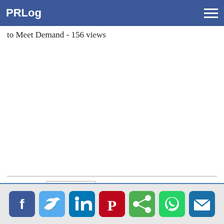PRLog
to Meet Demand - 156 views
Mobile | Desktop
[Figure (other): Social sharing icons row: Facebook, Twitter, LinkedIn, Pinterest, Share, WhatsApp, Email]